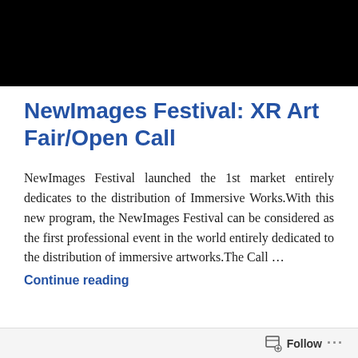[Figure (photo): Black rectangular image at the top of the page]
NewImages Festival: XR Art Fair/Open Call
NewImages Festival launched the 1st market entirely dedicates to the distribution of Immersive Works.With this new program, the NewImages Festival can be considered as the first professional event in the world entirely dedicated to the distribution of immersive artworks.The Call …
Continue reading
Follow ...